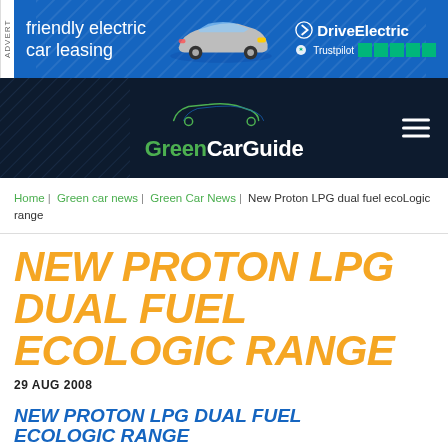[Figure (other): Advertisement banner for DriveElectric friendly electric car leasing with a MINI electric car image and Trustpilot 5-star rating]
[Figure (logo): GreenCarGuide website navigation bar with logo showing car silhouettes and hamburger menu icon]
Home | Green car news | Green Car News | New Proton LPG dual fuel ecoLogic range
NEW PROTON LPG DUAL FUEL ECOLOGIC RANGE
29 AUG 2008
NEW PROTON LPG DUAL FUEL ECOLOGIC RANGE